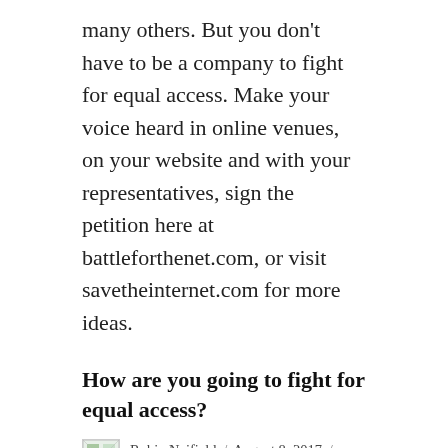many others. But you don't have to be a company to fight for equal access. Make your voice heard in online venues, on your website and with your representatives, sign the petition here at battleforthenet.com, or visit savetheinternet.com for more ideas.
How are you going to fight for equal access?
Robin Neifield / August 8, 2017 / Internet Marketing / Amazon, Comcast, Dropbox, Facebook, Fcc, Google, Net Neutrality, Netflix, Open Internet Order, Reddit, spotify, streaming bandwidth, The Internet-Wide Day of Action, Twitter, Verizon, Video advertising, Yelp / 3 Comments
Who's Talking About Me